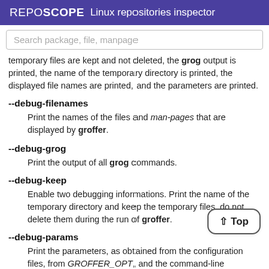REPOSCOPE  Linux repositories inspector
Search package, file, manpage
temporary files are kept and not deleted, the grog output is printed, the name of the temporary directory is printed, the displayed file names are printed, and the parameters are printed.
--debug-filenames
Print the names of the files and man-pages that are displayed by groffer.
--debug-grog
Print the output of all grog commands.
--debug-keep
Enable two debugging informations. Print the name of the temporary directory and keep the temporary files, do not delete them during the run of groffer.
--debug-params
Print the parameters, as obtained from the configuration files, from GROFFER_OPT, and the command-line arguments.